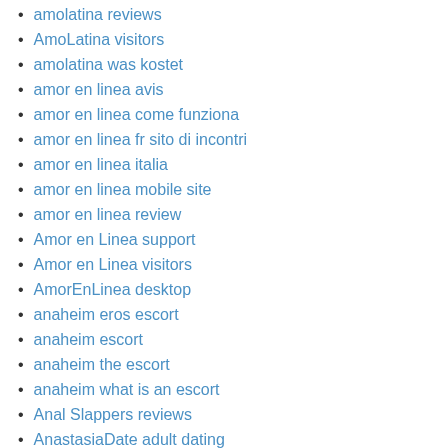amolatina reviews
AmoLatina visitors
amolatina was kostet
amor en linea avis
amor en linea come funziona
amor en linea fr sito di incontri
amor en linea italia
amor en linea mobile site
amor en linea review
Amor en Linea support
Amor en Linea visitors
AmorEnLinea desktop
anaheim eros escort
anaheim escort
anaheim the escort
anaheim what is an escort
Anal Slappers reviews
AnastasiaDate adult dating
anastasiadate bewertung
anastasiadate dating
anastasiadate gratis
anastasiadate incontrare la gente
anastasiadate italia